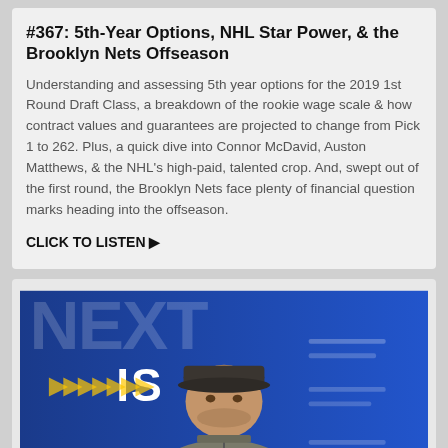#367: 5th-Year Options, NHL Star Power, & the Brooklyn Nets Offseason
Understanding and assessing 5th year options for the 2019 1st Round Draft Class, a breakdown of the rookie wage scale & how contract values and guarantees are projected to change from Pick 1 to 262. Plus, a quick dive into Connor McDavid, Auston Matthews, & the NHL's high-paid, talented crop. And, swept out of the first round, the Brooklyn Nets face plenty of financial question marks heading into the offseason.
CLICK TO LISTEN ▶
[Figure (photo): A man wearing a dark cap and grey jacket seated at what appears to be an NFL event or press conference, with a blue backdrop featuring 'NEXT IS' text and chevron graphics]